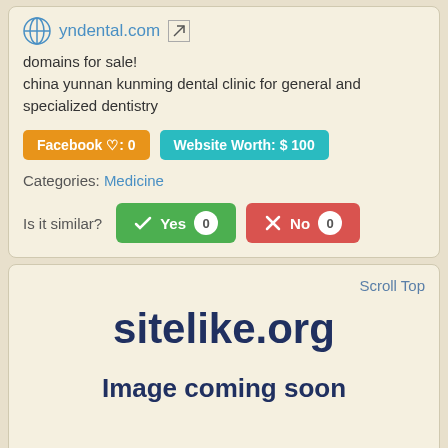yndental.com
domains for sale!
china yunnan kunming dental clinic for general and specialized dentistry
Facebook ♡: 0
Website Worth: $ 100
Categories: Medicine
Is it similar? Yes 0 No 0
Scroll Top
sitelike.org
Image coming soon